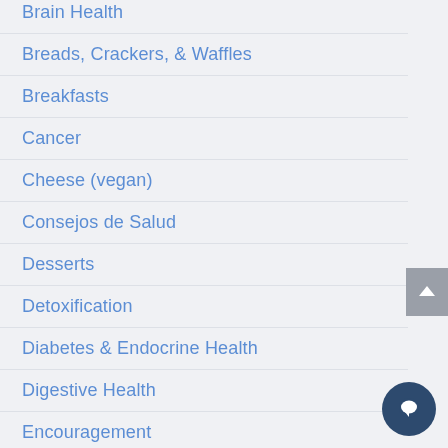Brain Health
Breads, Crackers, & Waffles
Breakfasts
Cancer
Cheese (vegan)
Consejos de Salud
Desserts
Detoxification
Diabetes & Endocrine Health
Digestive Health
Encouragement
En...